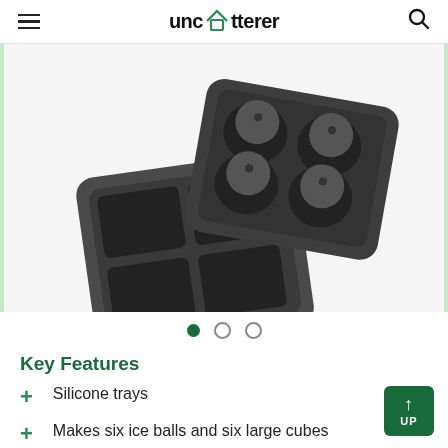unclutterer
[Figure (photo): Two dark gray silicone ice trays: one square cube tray (6 large cubes, Ticent branded) and one sphere/ball tray with 6 ice ball molds, overlapping on a white background.]
Key Features
Silicone trays
Makes six ice balls and six large cubes